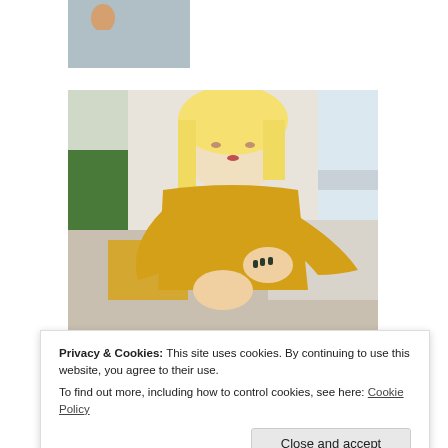[Figure (photo): Partial thumbnail photo of a person, partially cropped at top of page]
[Figure (photo): Woman with blonde hair wearing a yellow knit sweater, sitting on a couch, looking at and scratching her arm/elbow with dark-painted fingernails]
Privacy & Cookies: This site uses cookies. By continuing to use this website, you agree to their use.
To find out more, including how to control cookies, see here: Cookie Policy
Close and accept
[Figure (photo): Partial photo visible at bottom of page showing people outdoors on grass]